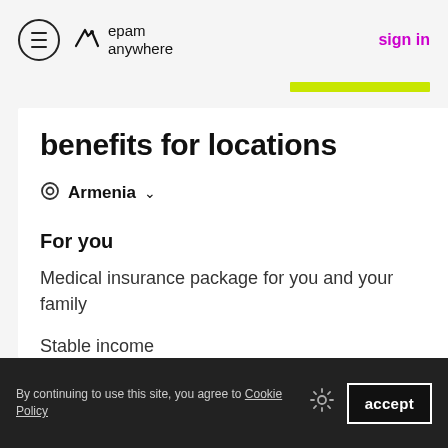epam anywhere — sign in
benefits for locations
Armenia
For you
Medical insurance package for you and your family
Stable income
Paid sick leave days
By continuing to use this site, you agree to Cookie Policy  accept